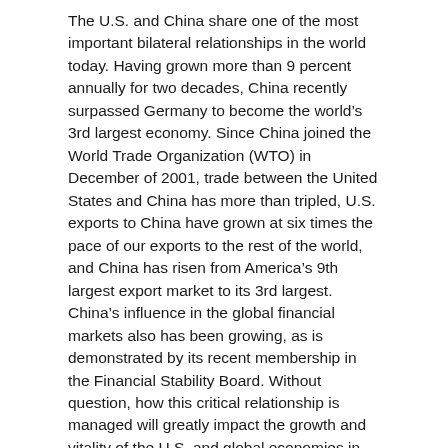The U.S. and China share one of the most important bilateral relationships in the world today. Having grown more than 9 percent annually for two decades, China recently surpassed Germany to become the world's 3rd largest economy. Since China joined the World Trade Organization (WTO) in December of 2001, trade between the United States and China has more than tripled, U.S. exports to China have grown at six times the pace of our exports to the rest of the world, and China has risen from America's 9th largest export market to its 3rd largest. China's influence in the global financial markets also has been growing, as is demonstrated by its recent membership in the Financial Stability Board. Without question, how this critical relationship is managed will greatly impact the growth and vitality of the U.S. and global economies in the 21st century.
The S&ED is the ideal forum to address many important issues in this relationship including facilitation of continued reform and modernization of China's underdeveloped financial sector. A modern financial system is critical to China achieving its own economic goals of maintaining high rates of growth and job creation, and building a more services-based, consumer-driven economy – goals very much in the interest of the United States. Fair and competitive access to China's fast-growing middle class and business sector